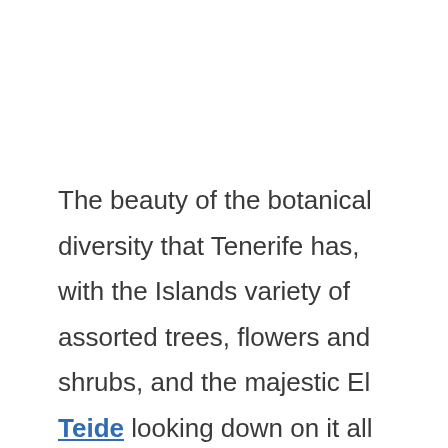The beauty of the botanical diversity that Tenerife has, with the Islands variety of assorted trees, flowers and shrubs, and the majestic El Teide looking down on it all gave Agatha a lot of enthusiasm for her writing. The spectacular landscape and the peace of the Island helped the writer to continue with her career.